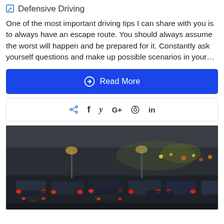Defensive Driving
One of the most important driving tips I can share with you is to always have an escape route. You should always assume the worst will happen and be prepared for it. Constantly ask yourself questions and make up possible scenarios in your...
[Figure (other): Blue 'Read More' button with circle-arrow icon and white text]
[Figure (other): Social share bar with share, facebook, twitter, google+, pinterest, linkedin icons]
[Figure (photo): Nighttime traffic jam photo showing cars with brake lights under an overpass]